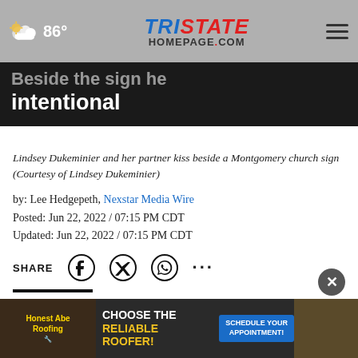86° — Tristate Homepage.com
intentional
Lindsey Dukeminier and her partner kiss beside a Montgomery church sign (Courtesy of Lindsey Dukeminier)
by: Lee Hedgepeth, Nexstar Media Wire
Posted: Jun 22, 2022 / 07:15 PM CDT
Updated: Jun 22, 2022 / 07:15 PM CDT
SHARE
MONTGOMERY, Ala. (WIAT) — Lindsey Dukeminier and her fiancée... Alabama... the
[Figure (screenshot): Advertisement banner: Choose the Reliable Roofer - Schedule Your Appointment]